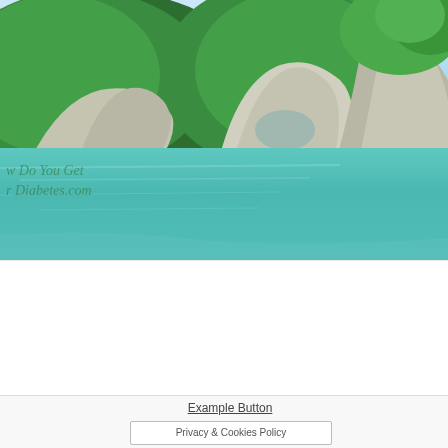[Figure (photo): Panoramic photo of a tropical lagoon with turquoise-green water, limestone karst mountains covered in lush green vegetation in the background, rocky outcroppings with trees on the right side, and a clear sky. A watermark text overlay reads 'w Do You Get' and 'r Diabetes.com' in green italic script on the lower-left of the image.]
Example Button
Privacy & Cookies Policy